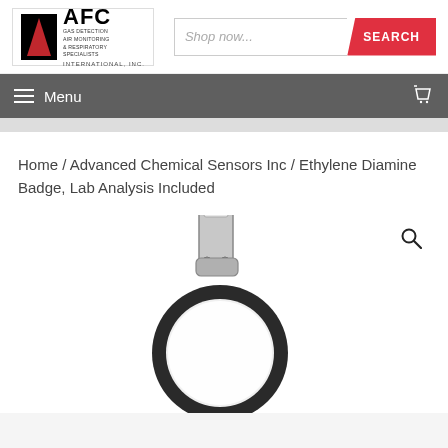[Figure (logo): AFC International Inc. logo with red triangle/arrow icon, company name AFC in bold, taglines: GAS DETECTION, AIR MONITORING & RESPIRATORY SPECIALISTS, INTERNATIONAL, INC.]
Shop now...
SEARCH
Menu
Home / Advanced Chemical Sensors Inc / Ethylene Diamine Badge, Lab Analysis Included
[Figure (photo): Ethylene Diamine passive sampling badge with metal clip, circular white disc with black outer ring, shown at an angle.]